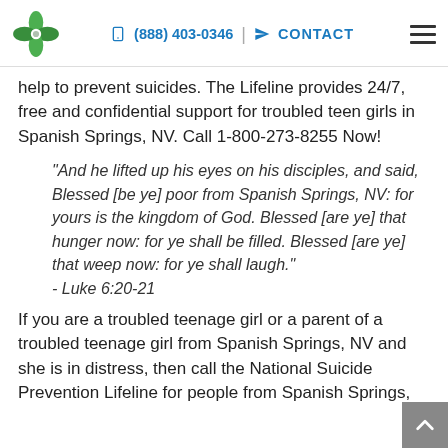(888) 403-0346 | CONTACT
help to prevent suicides. The Lifeline provides 24/7, free and confidential support for troubled teen girls in Spanish Springs, NV. Call 1-800-273-8255 Now!
"And he lifted up his eyes on his disciples, and said, Blessed [be ye] poor from Spanish Springs, NV: for yours is the kingdom of God. Blessed [are ye] that hunger now: for ye shall be filled. Blessed [are ye] that weep now: for ye shall laugh." - Luke 6:20-21
If you are a troubled teenage girl or a parent of a troubled teenage girl from Spanish Springs, NV and she is in distress, then call the National Suicide Prevention Lifeline for people from Spanish Springs,